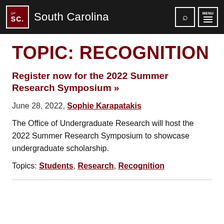University of South Carolina — South Carolina
TOPIC:  RECOGNITION
Register now for the 2022 Summer Research Symposium »
June 28, 2022, Sophie Karapatakis
The Office of Undergraduate Research will host the 2022 Summer Research Symposium to showcase undergraduate scholarship.
Topics: Students, Research, Recognition